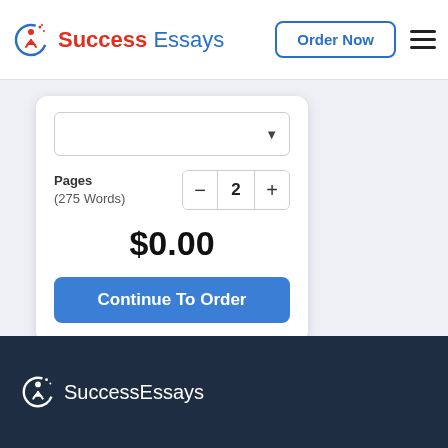[Figure (logo): Success Essays logo with red figure icon and blue/red text]
Order Now
[Figure (screenshot): Order form card with dropdown, Pages stepper showing 2, price $0.00, and Continue To Order button]
$0.00
Continue To Order
[Figure (logo): SuccessEssays white logo in dark footer]